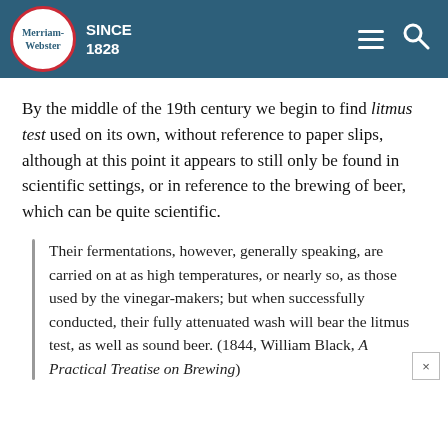Merriam-Webster SINCE 1828
By the middle of the 19th century we begin to find litmus test used on its own, without reference to paper slips, although at this point it appears to still only be found in scientific settings, or in reference to the brewing of beer, which can be quite scientific.
Their fermentations, however, generally speaking, are carried on at as high temperatures, or nearly so, as those used by the vinegar-makers; but when successfully conducted, their fully attenuated wash will bear the litmus test, as well as sound beer. (1844, William Black, A Practical Treatise on Brewing)